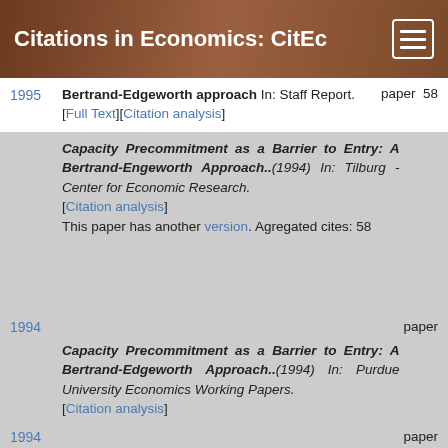Citations in Economics: CitEc
1995 Bertrand-Edgeworth approach In: Staff Report. [Full Text][Citation analysis] paper 58
1994 Capacity Precommitment as a Barrier to Entry: A Bertrand-Engeworth Approach..(1994) In: Tilburg - Center for Economic Research. [Citation analysis] This paper has another version. Agregated cites: 58 paper
1994 Capacity Precommitment as a Barrier to Entry: A Bertrand-Edgeworth Approach..(1994) In: Purdue University Economics Working Papers. [Citation analysis] paper